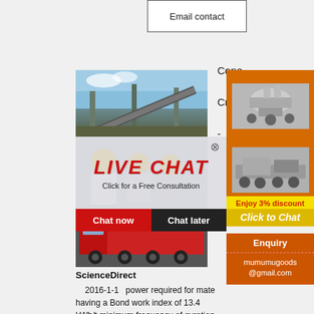Email contact
Cone

Crusher

-
[Figure (photo): Industrial conveyor belt and mining equipment against a blue sky]
[Figure (photo): Live chat overlay with workers in hard hats; LIVE CHAT heading in red italic, subtitle: Click for a Free Consultation; close X button; Chat now (red) and Chat later (dark) buttons]
[Figure (photo): Red transport truck loaded with heavy machinery]
[Figure (photo): Orange panel with crusher machine images]
Enjoy 3% discount
Click to Chat
Enquiry
mumumugoods @gmail.com
ScienceDirect
2016-1-1   power required for material having a Bond work index of 13.4 kWh/t minimum frequency of gyration. 5.3. Limestone having a mean particle size of 50